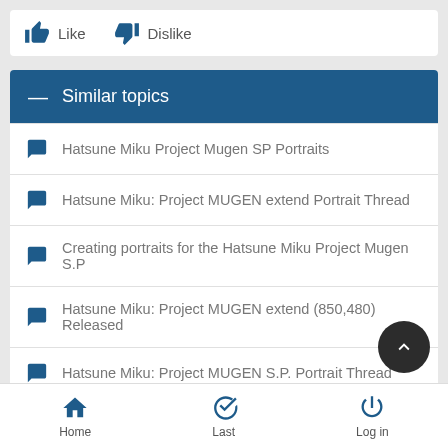Like  Dislike
Similar topics
Hatsune Miku Project Mugen SP Portraits
Hatsune Miku: Project MUGEN extend Portrait Thread
Creating portraits for the Hatsune Miku Project Mugen S.P
Hatsune Miku: Project MUGEN extend (850,480) Released
Hatsune Miku: Project MUGEN S.P. Portrait Thread
Home  Last  Log in